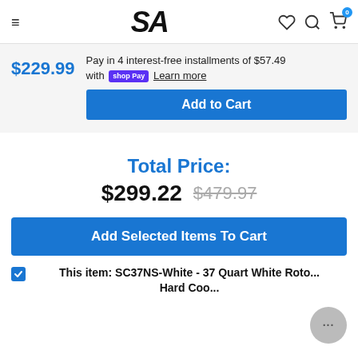[Figure (logo): SA logo in bold italic black lettering, hamburger menu icon on left, heart, search, and cart icons on right with badge showing 0]
Pay in 4 interest-free installments of $57.49 with shop Pay Learn more
$229.99
Add to Cart
Total Price:
$299.22  $479.97
Add Selected Items To Cart
This item: SC37NS-White - 37 Quart White Roto... Hard Coo...